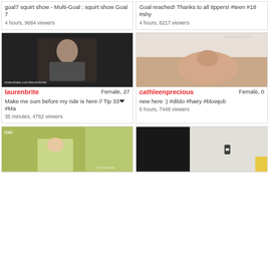goal7 squirt show - Multi-Goal : squirt show Goal 7
4 hours, 9684 viewers
Goal reached! Thanks to all tippers! #teen #18 #shy
4 hours, 8217 viewers
[Figure (photo): Streamer laurenbrite, female, 27. Photo of a woman in a room with headphones on.]
laurenbrite — Female, 27
Make me cum before my ride is here // Tip 33❤ #Ma
35 minutes, 4762 viewers
[Figure (photo): Streamer cathleenprecious, female, 0. Photo of a woman lying on a bed.]
cathleenprecious — Female, 0
new here :) #dildo #hairy #blowjob
5 hours, 7448 viewers
[Figure (photo): Bottom left stream thumbnail, greenish background with partial body view.]
[Figure (photo): Bottom right stream thumbnail, light room with a small outlet on wall.]